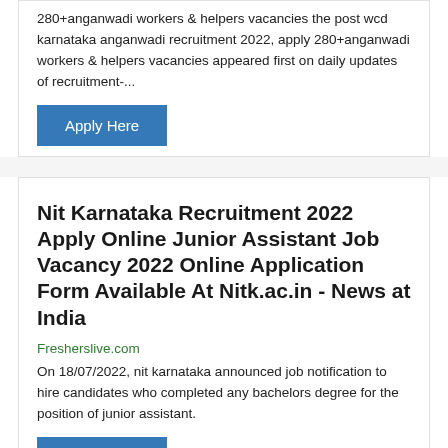280+anganwadi workers & helpers vacancies the post wcd karnataka anganwadi recruitment 2022, apply 280+anganwadi workers & helpers vacancies appeared first on daily updates of recruitment-...
Apply Here
Nit Karnataka Recruitment 2022 Apply Online Junior Assistant Job Vacancy 2022 Online Application Form Available At Nitk.ac.in - News at India
Fresherslive.com
On 18/07/2022, nit karnataka announced job notification to hire candidates who completed any bachelors degree for the position of junior assistant.
Apply Here